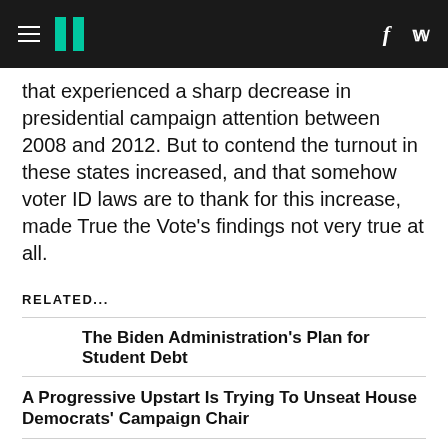HuffPost navigation with logo, hamburger menu, facebook and twitter icons
that experienced a sharp decrease in presidential campaign attention between 2008 and 2012. But to contend the turnout in these states increased, and that somehow voter ID laws are to thank for this increase, made True the Vote's findings not very true at all.
RELATED...
The Biden Administration's Plan for Student Debt
A Progressive Upstart Is Trying To Unseat House Democrats' Campaign Chair
Hannity Whines Over Debt Relief